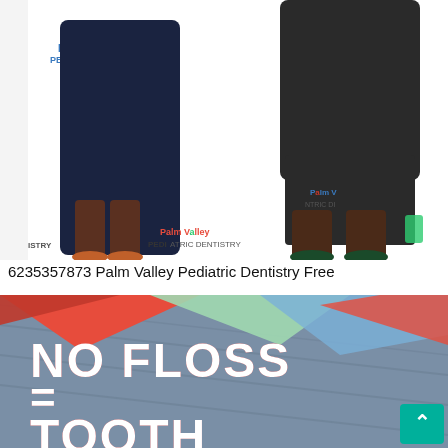[Figure (photo): Photo of two children standing in front of a Palm Valley Pediatric Dentistry branded backdrop with cartoon bee mascot. Children are wearing dark clothing.]
6235357873 Palm Valley Pediatric Dentistry Free
[Figure (photo): Promotional image with blue-gray background and red/white 3D bold text reading 'NO FLOSS = TOOTH LOSS'. The image has colorful geometric shapes at the top in red, green, and blue.]